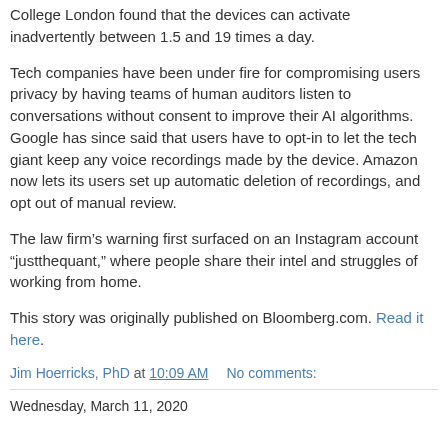College London found that the devices can activate inadvertently between 1.5 and 19 times a day.
Tech companies have been under fire for compromising users privacy by having teams of human auditors listen to conversations without consent to improve their AI algorithms. Google has since said that users have to opt-in to let the tech giant keep any voice recordings made by the device. Amazon now lets its users set up automatic deletion of recordings, and opt out of manual review.
The law firm’s warning first surfaced on an Instagram account “justthequant,” where people share their intel and struggles of working from home.
This story was originally published on Bloomberg.com. Read it here.
Jim Hoerricks, PhD at 10:09 AM    No comments:
Wednesday, March 11, 2020